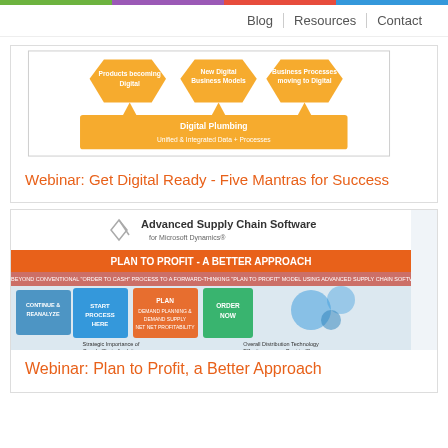Blog | Resources | Contact
[Figure (infographic): Digital transformation diagram with orange hexagon shapes: Products becoming Digital, New Digital Business Models, Business Processes moving to Digital, and Digital Plumbing - Unified & Integrated Data + Processes]
Webinar: Get Digital Ready - Five Mantras for Success
[Figure (infographic): Advanced Supply Chain Software for Microsoft Dynamics infographic: Plan to Profit - A Better Approach. Going beyond conventional Order to Cash process to a forward-thinking Plan to Profit model using Advanced Supply Chain Software. Shows START PROCESS HERE, PLAN, ORDER NOW steps with Strategic Importance of Supply Chain Analytics and Overall Distribution Technology Effectiveness vs. Best-in-Class sections.]
Webinar: Plan to Profit, a Better Approach